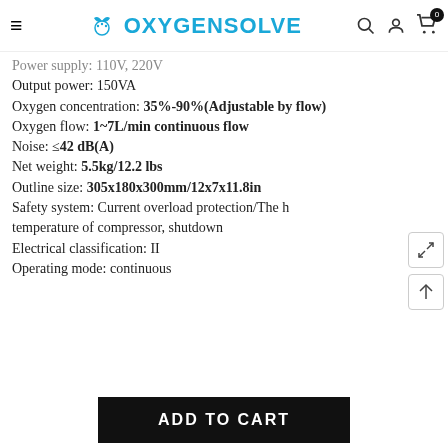OXYGENSOLVE
Power supply: 110V, 220V
Output power: 150VA
Oxygen concentration: 35%-90%(Adjustable by flow)
Oxygen flow: 1~7L/min continuous flow
Noise: ≤42 dB(A)
Net weight: 5.5kg/12.2 lbs
Outline size: 305x180x300mm/12x7x11.8in
Safety system: Current overload protection/The h temperature of compressor, shutdown
Electrical classification: II
Operating mode: continuous
[Figure (other): ADD TO CART button]